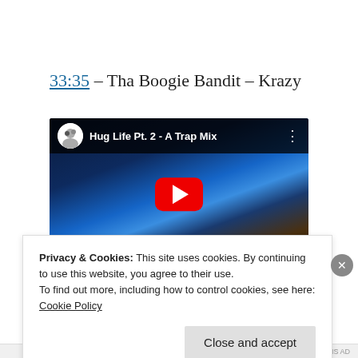33:35 – Tha Boogie Bandit – Krazy
[Figure (screenshot): YouTube video thumbnail for 'Hug Life Pt. 2 - A Trap Mix' showing a dark background with a wooden crate and a red play button]
Privacy & Cookies: This site uses cookies. By continuing to use this website, you agree to their use.
To find out more, including how to control cookies, see here:
Cookie Policy
Close and accept